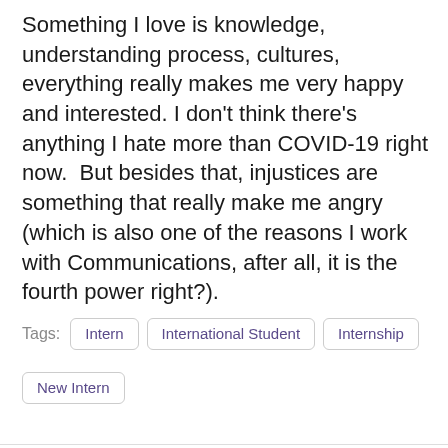Something I love is knowledge, understanding process, cultures, everything really makes me very happy and interested. I don't think there's anything I hate more than COVID-19 right now.  But besides that, injustices are something that really make me angry (which is also one of the reasons I work with Communications, after all, it is the fourth power right?).
Tags: Intern | International Student | Internship | New Intern